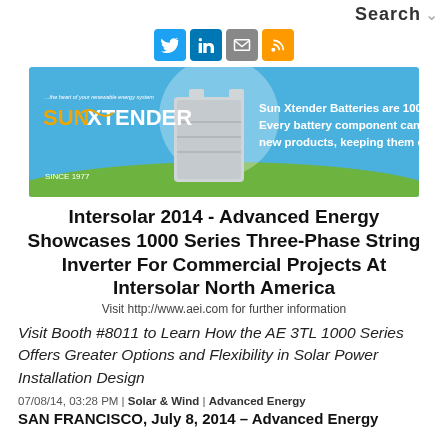Search
[Figure (infographic): Social media icons: Twitter (blue bird), LinkedIn (blue), Email (grey envelope), RSS (orange feed icon)]
[Figure (photo): Sun Xtender battery advertisement banner. Blue background with green grass. Sun Xtender logo in orange/yellow text. Battery product image. Text: Sun Xtender Batteries are 100% recyclable. Every battery component can be forged into new products, keeping them out of landfills. SINCE 1977.]
Intersolar 2014 - Advanced Energy Showcases 1000 Series Three-Phase String Inverter For Commercial Projects At Intersolar North America
Visit http://www.aei.com for further information
Visit Booth #8011 to Learn How the AE 3TL 1000 Series Offers Greater Options and Flexibility in Solar Power Installation Design
07/08/14, 03:28 PM | Solar & Wind | Advanced Energy
SAN FRANCISCO, July 8, 2014 – Advanced Energy